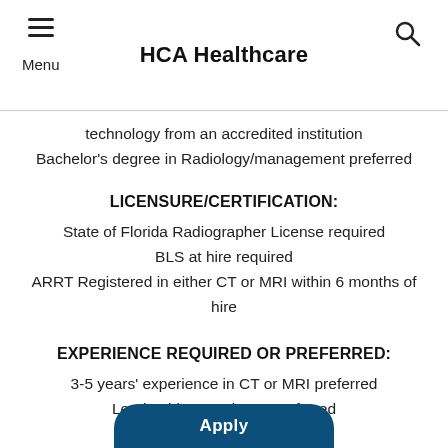HCA Healthcare
technology from an accredited institution
Bachelor's degree in Radiology/management preferred
LICENSURE/CERTIFICATION:
State of Florida Radiographer License required
BLS at hire required
ARRT Registered in either CT or MRI within 6 months of hire
EXPERIENCE REQUIRED OR PREFERRED:
3-5 years' experience in CT or MRI preferred
Leadership experience preferred